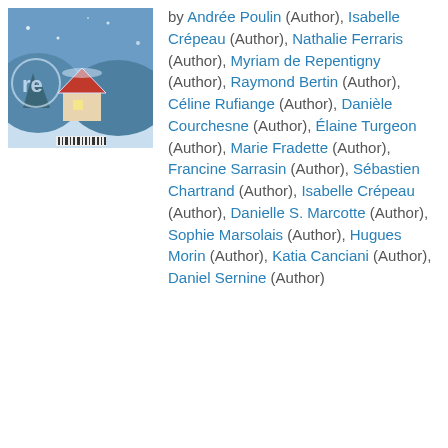[Figure (illustration): Book cover showing a winter scene with snow, a house, and the letters 're' visible on the left side]
by Andrée Poulin (Author), Isabelle Crépeau (Author), Nathalie Ferraris (Author), Myriam de Repentigny (Author), Raymond Bertin (Author), Céline Rufiange (Author), Danièle Courchesne (Author), Élaine Turgeon (Author), Marie Fradette (Author), Francine Sarrasin (Author), Sébastien Chartrand (Author), Isabelle Crépeau (Author), Danielle S. Marcotte (Author), Sophie Marsolais (Author), Hugues Morin (Author), Katia Canciani (Author), Daniel Sernine (Author)